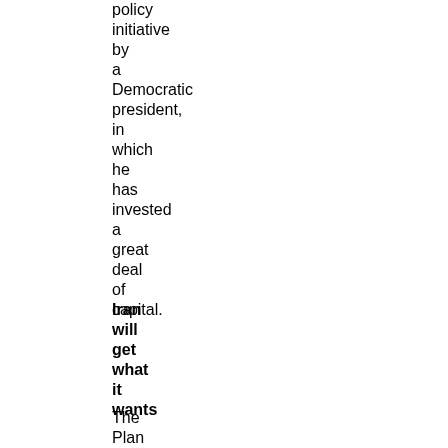policy initiative by a Democratic president, in which he has invested a great deal of capital.
Iran will get what it wants
The Plan of